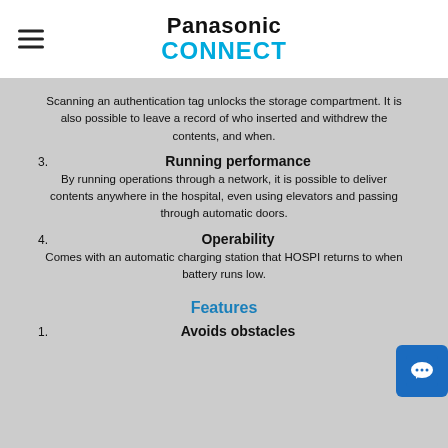Panasonic CONNECT
Scanning an authentication tag unlocks the storage compartment. It is also possible to leave a record of who inserted and withdrew the contents, and when.
3. Running performance
By running operations through a network, it is possible to deliver contents anywhere in the hospital, even using elevators and passing through automatic doors.
4. Operability
Comes with an automatic charging station that HOSPI returns to when battery runs low.
Features
1. Avoids obstacles